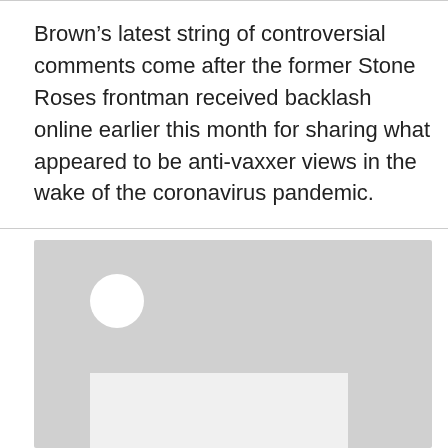Brown’s latest string of controversial comments come after the former Stone Roses frontman received backlash online earlier this month for sharing what appeared to be anti-vaxxer views in the wake of the coronavirus pandemic.
[Figure (photo): A placeholder image block with a white circle (likely avatar) in the upper-left area and a lighter rectangle at the bottom, indicating a loading or unavailable photo.]